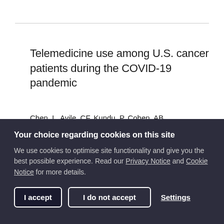Telemedicine use among U.S. cancer patients during the COVID-19 pandemic
Chen, L, Avile, CF, Kundu, P, Cohen, AB, Webster, A, Rohrer, R, Taylor, M
Your choice regarding cookies on this site
We use cookies to optimise site functionality and give you the best possible experience. Read our Privacy Notice and Cookie Notice for more details.